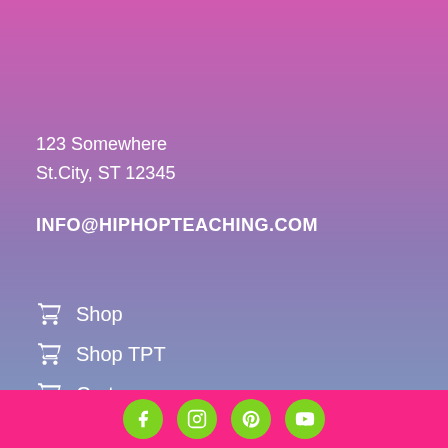123 Somewhere
St.City, ST 12345
INFO@HIPHOPTEACHING.COM
Shop
Shop TPT
Cart
Social icons: Facebook, Instagram, Pinterest, YouTube